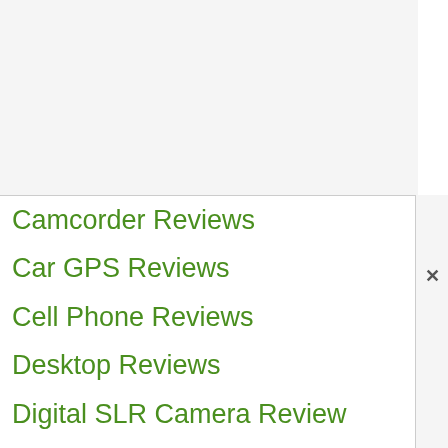Camcorder Reviews
Car GPS Reviews
Cell Phone Reviews
Desktop Reviews
Digital SLR Camera Review
Laptop Reviews
Monitor Reviews
Network Attached Storage Reviews
PC Virtual Reality Hardware